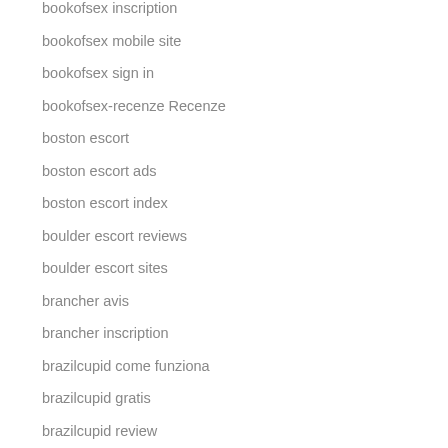bookofsex inscription
bookofsex mobile site
bookofsex sign in
bookofsex-recenze Recenze
boston escort
boston escort ads
boston escort index
boulder escort reviews
boulder escort sites
brancher avis
brancher inscription
brazilcupid come funziona
brazilcupid gratis
brazilcupid review
brazilcupid sito di incontri